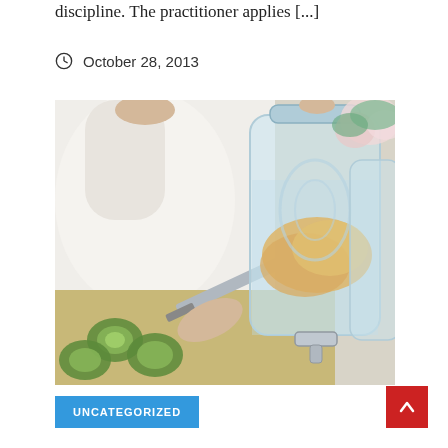discipline. The practitioner applies [...]
October 28, 2013
[Figure (photo): Person in white clothes cutting cucumbers next to a large glass drink dispenser filled with water and orange slices, with flowers in background]
UNCATEGORIZED